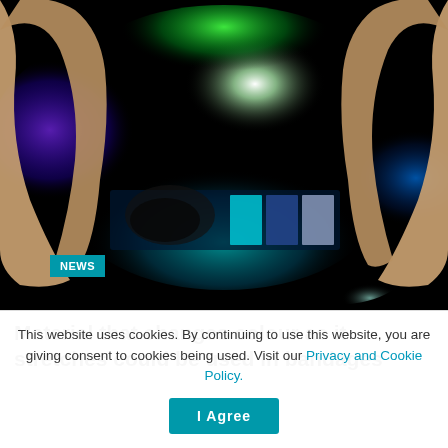[Figure (photo): Two hands stretching a flexible material/film under UV or colorful lighting. The material shows vivid green, blue, purple, and teal colors with color-changing squares or patches visible in the center. Dark background with glowing light reflections.]
NEWS
Material that changes colour as it stretches could be used in bandages
This website uses cookies. By continuing to use this website, you are giving consent to cookies being used. Visit our Privacy and Cookie Policy.